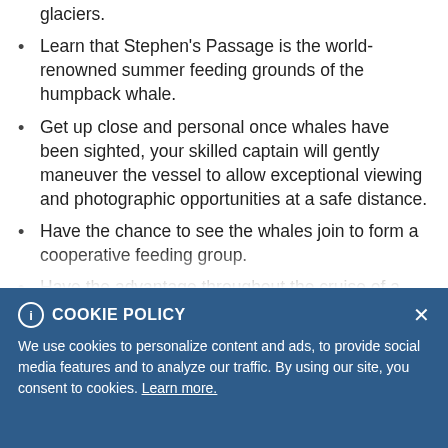glaciers.
Learn that Stephen's Passage is the world-renowned summer feeding grounds of the humpback whale.
Get up close and personal once whales have been sighted, your skilled captain will gently maneuver the vessel to allow exceptional viewing and photographic opportunities at a safe distance.
Have the chance to see the whales join to form a cooperative feeding group.
Have the advantage throughout the cruise of a naturalist onboard who will explain the humpback whale's behavior and habitat.
Enjoy the peaceful ambiance of Alaska's long evening glow and be treated to a delicious variety of appetizers, accompanied by complimentary beverages. There will also be a no-host bar with a selection of beer and wine.
COOKIE POLICY
We use cookies to personalize content and ads, to provide social media features and to analyze our traffic. By using our site, you consent to cookies. Learn more.